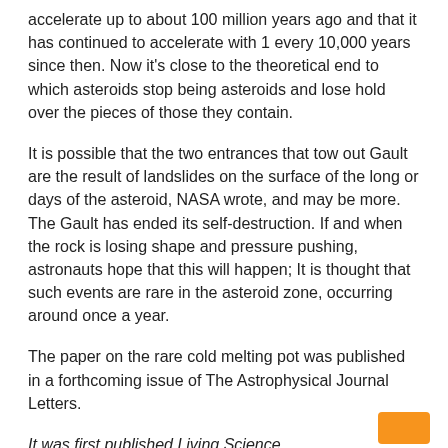accelerate up to about 100 million years ago and that it has continued to accelerate with 1 every 10,000 years since then. Now it's close to the theoretical end to which asteroids stop being asteroids and lose hold over the pieces of those they contain.
It is possible that the two entrances that tow out Gault are the result of landslides on the surface of the long or days of the asteroid, NASA wrote, and may be more. The Gault has ended its self-destruction. If and when the rock is losing shape and pressure pushing, astronauts hope that this will happen; It is thought that such events are rare in the asteroid zone, occurring around once a year.
The paper on the rare cold melting pot was published in a forthcoming issue of The Astrophysical Journal Letters.
It was first published Living Science.
[ad_2]
Source link